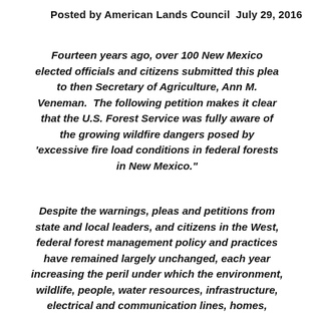Posted by American Lands Council  July 29, 2016
Fourteen years ago, over 100 New Mexico elected officials and citizens submitted this plea to then Secretary of Agriculture, Ann M. Veneman.  The following petition makes it clear that the U.S. Forest Service was fully aware of the growing wildfire dangers posed by 'excessive fire load conditions in federal forests in New Mexico."
Despite the warnings, pleas and petitions from state and local leaders, and citizens in the West, federal forest management policy and practices have remained largely unchanged, each year increasing the peril under which the environment, wildlife, people, water resources, infrastructure, electrical and communication lines, homes, communities and local economies must